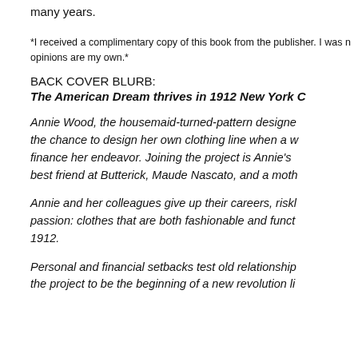many years.
*I received a complimentary copy of this book from the publisher. I was not required to write a positive review. All opinions are my own.*
BACK COVER BLURB:
The American Dream thrives in 1912 New York C
Annie Wood, the housemaid-turned-pattern designer, the chance to design her own clothing line when a w finance her endeavor. Joining the project is Annie's best friend at Butterick, Maude Nascato, and a moth
Annie and her colleagues give up their careers, riski passion: clothes that are both fashionable and funct 1912.
Personal and financial setbacks test old relationship the project to be the beginning of a new revolution li